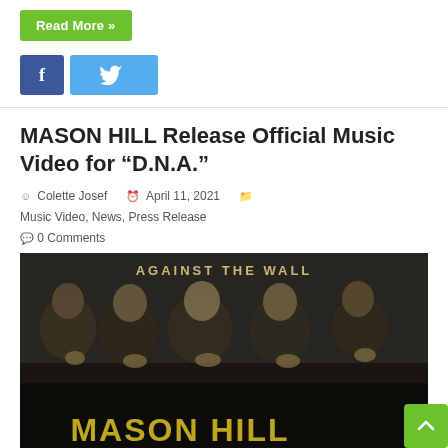Read More »
[Figure (other): Facebook and Twitter social share buttons]
MASON HILL Release Official Music Video for “D.N.A.”
Colette Josef   April 11, 2021   Music Video, News, Press Release   0 Comments
[Figure (photo): Band photo of Mason Hill with five members posing with fingers making diamond/DNA gesture, with text 'AGAINST THE WALL' and 'MASON HILL' overlaid on dark background]